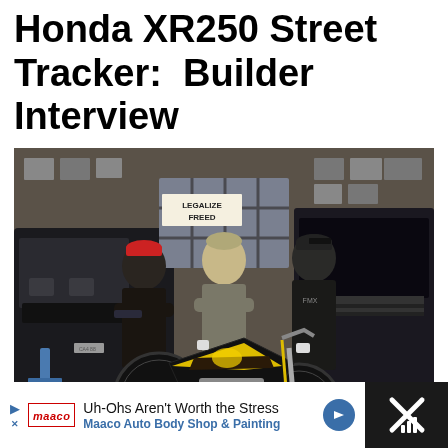Honda XR250 Street Tracker:  Builder Interview
[Figure (photo): Three men standing in a garage/workshop with a custom black and yellow Honda XR250 street tracker motorcycle. Background shows framed pictures, a 'Legalize Freedom' sign, vintage trucks. UI overlays include orange heart button, white share button, and 'What's Next' card showing Honda XR250 Cobra.]
WHAT'S NEXT → Honda XR250 "Cobra"
[Figure (other): Advertisement bar: Maaco Auto Body Shop & Painting ad. Text: 'Uh-Ohs Aren't Worth the Stress / Maaco Auto Body Shop & Painting'. Dark right panel with X icon.]